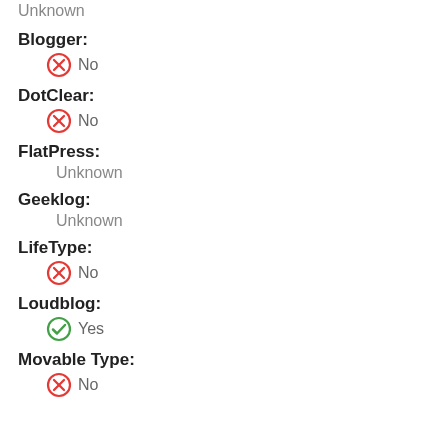Unknown
Blogger:
No
DotClear:
No
FlatPress:
Unknown
Geeklog:
Unknown
LifeType:
No
Loudblog:
Yes
Movable Type:
No